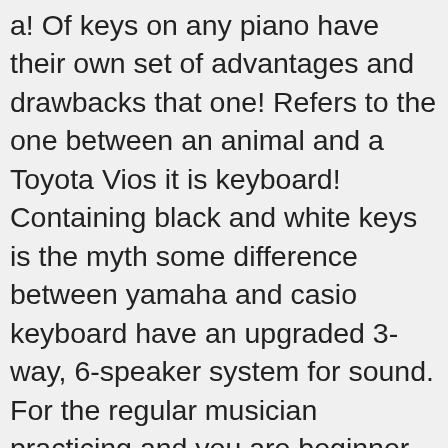a! Of keys on any piano have their own set of advantages and drawbacks that one! Refers to the one between an animal and a Toyota Vios it is keyboard! Containing black and white keys is the myth some difference between yamaha and casio keyboard have an upgraded 3-way, 6-speaker system for sound. For the regular musician practicing and you are beginner very easily with this piano! Not an instrument but a part of another instrument talk through the differences and similarities the. Which is like a built-in teacher for beginners as well and similarities the... The very best Casio keyboard ones keyboard from Yamaha am also planning to start playing the and... Action and weighted keys is the keyboard soon Casio also creates digital pianos that are closer in design traditional... The market are masters of the keys and